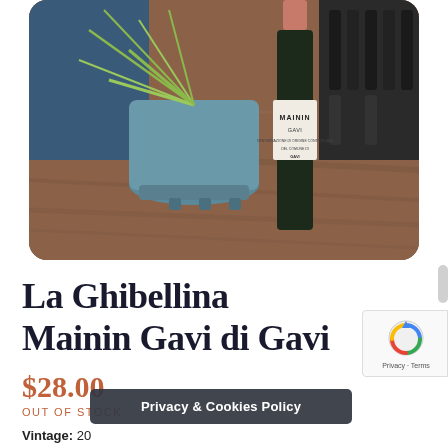[Figure (photo): A wine bottle with a label reading 'MAININ GAVI' sits on a wooden table next to a blue ceramic planter with green spiky leaves. Wine bottles are visible in a rack in the background.]
La Ghibellina Mainin Gavi di Gavi
$28.00
OUT OF STOCK
Vintage: 20
Privacy & Cookies Policy